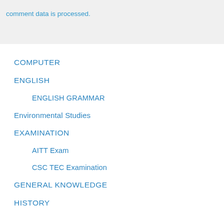comment data is processed.
COMPUTER
ENGLISH
ENGLISH GRAMMAR
Environmental Studies
EXAMINATION
AITT Exam
CSC TEC Examination
GENERAL KNOWLEDGE
HISTORY